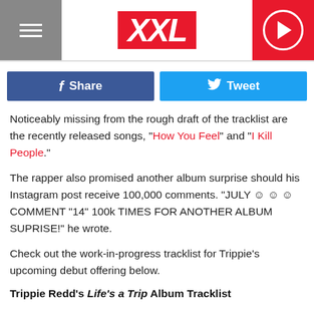XXL
Share   Tweet
Noticeably missing from the rough draft of the tracklist are the recently released songs, "How You Feel" and "I Kill People."
The rapper also promised another album surprise should his Instagram post receive 100,000 comments. "JULY 😒 😒 😒 COMMENT “14” 100k TIMES FOR ANOTHER ALBUM SUPRISE!" he wrote.
Check out the work-in-progress tracklist for Trippie's upcoming debut offering below.
Trippie Redd's Life's a Trip Album Tracklist